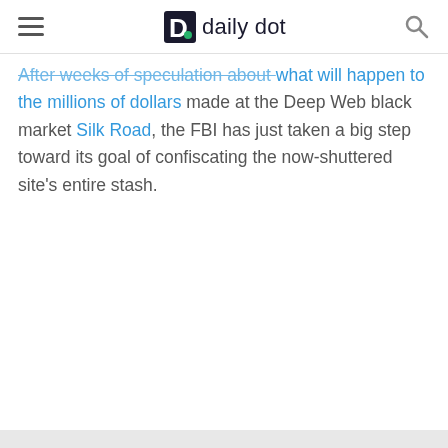Daily Dot
After weeks of speculation about what will happen to the millions of dollars made at the Deep Web black market Silk Road, the FBI has just taken a big step toward its goal of confiscating the now-shuttered site's entire stash.